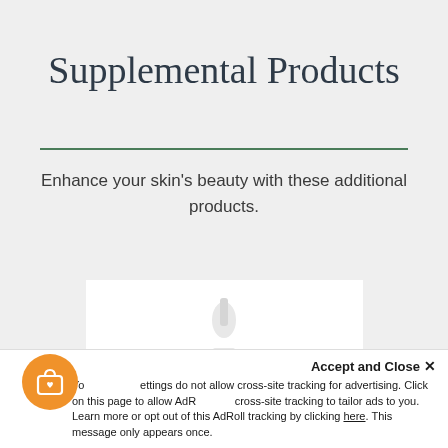Supplemental Products
Enhance your skin's beauty with these additional products.
[Figure (photo): A white dropper bottle skincare product on a white background]
Accept and Close ×
Your settings do not allow cross-site tracking for advertising. Click on this page to allow AdRoll cross-site tracking to tailor ads to you. Learn more or opt out of this AdRoll tracking by clicking here. This message only appears once.